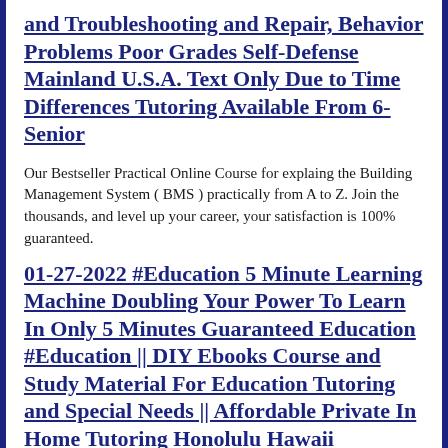and Troubleshooting and Repair, Behavior Problems Poor Grades Self-Defense Mainland U.S.A. Text Only Due to Time Differences Tutoring Available From 6-Senior
Our Bestseller Practical Online Course for explaing the Building Management System ( BMS ) practically from A to Z. Join the thousands, and level up your career, your satisfaction is 100% guaranteed.
01-27-2022 #Education 5 Minute Learning Machine Doubling Your Power To Learn In Only 5 Minutes Guaranteed Education #Education || DIY Ebooks Course and Study Material For Education Tutoring and Special Needs || Affordable Private In Home Tutoring Honolulu Hawaii